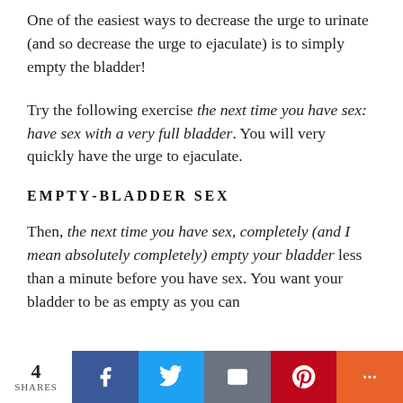One of the easiest ways to decrease the urge to urinate (and so decrease the urge to ejaculate) is to simply empty the bladder!
Try the following exercise the next time you have sex: have sex with a very full bladder. You will very quickly have the urge to ejaculate.
EMPTY-BLADDER SEX
Then, the next time you have sex, completely (and I mean absolutely completely) empty your bladder less than a minute before you have sex. You want your bladder to be as empty as you can
4 SHARES | Facebook | Twitter | Email | Pinterest | More